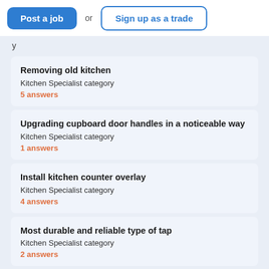Post a job or Sign up as a trade
Removing old kitchen
Kitchen Specialist category
5 answers
Upgrading cupboard door handles in a noticeable way
Kitchen Specialist category
1 answers
Install kitchen counter overlay
Kitchen Specialist category
4 answers
Most durable and reliable type of tap
Kitchen Specialist category
2 answers